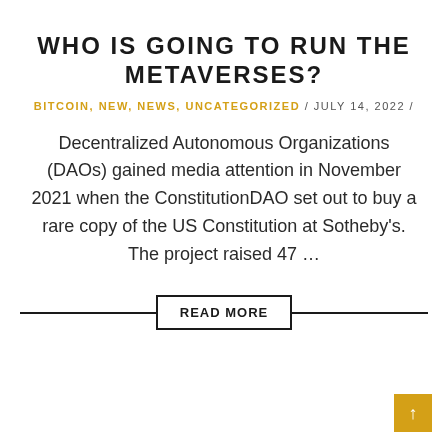WHO IS GOING TO RUN THE METAVERSES?
BITCOIN, NEW, NEWS, UNCATEGORIZED / JULY 14, 2022 /
Decentralized Autonomous Organizations (DAOs) gained media attention in November 2021 when the ConstitutionDAO set out to buy a rare copy of the US Constitution at Sotheby's. The project raised 47 ...
READ MORE